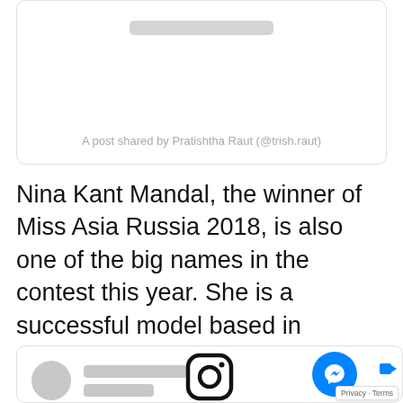[Figure (screenshot): Top social media post card with blurred username bar and 'A post shared by Pratishtha Raut (@trish.raut)' attribution text]
Nina Kant Mandal, the winner of Miss Asia Russia 2018, is also one of the big names in the contest this year. She is a successful model based in Russia.
[Figure (screenshot): Bottom social media post card with blurred avatar circle, two blurred name lines, and an Instagram icon at the bottom. A Messenger chat button and Privacy/Terms tooltip appear in the lower right corner.]